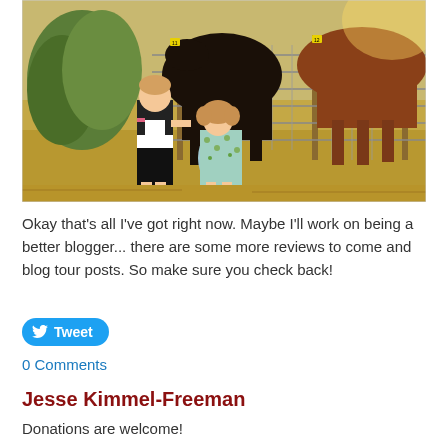[Figure (photo): Two children (a boy in black-and-white shirt and black shorts, and a toddler girl in a blue floral dress) standing at a wire fence looking at horses on a farm. Dry grass and a wooden fence post visible. Sunny outdoor scene.]
Okay that's all I've got right now. Maybe I'll work on being a better blogger... there are some more reviews to come and blog tour posts. So make sure you check back!
[Figure (other): Tweet button (blue rounded button with Twitter bird icon and 'Tweet' text)]
0 Comments
Jesse Kimmel-Freeman
Donations are welcome!